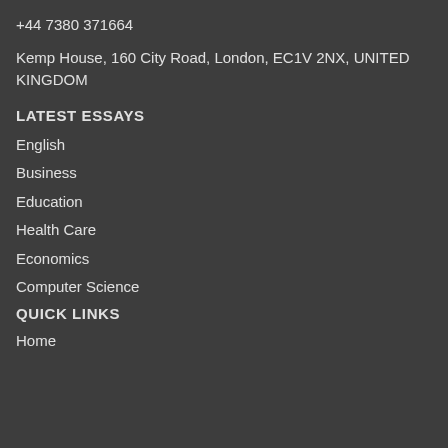+44 7380 371664
Kemp House, 160 City Road, London, EC1V 2NX, UNITED KINGDOM
LATEST ESSAYS
English
Business
Education
Health Care
Economics
Computer Science
QUICK LINKS
Home